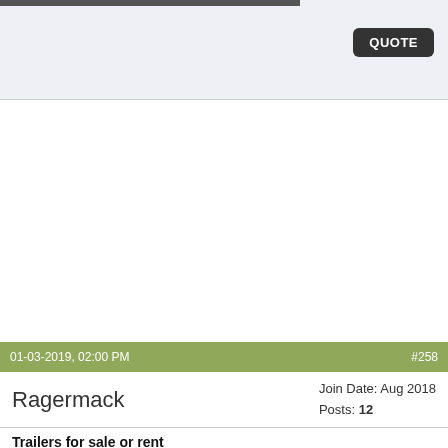[Figure (screenshot): Top portion of a forum quoted post area with a dark image strip at the top and a QUOTE button on the right side, on a light blue-grey background.]
QUOTE
01-03-2019, 02:00 PM                #258
Ragermack
Join Date: Aug 2018
Posts: 12
Trailers for sale or rent
Rooms to let $ 50